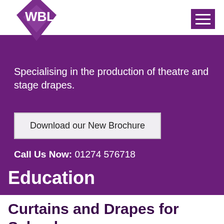[Figure (logo): WBL logo - white diamond shape with WBL text in white, on purple background]
Specialising in the production of theatre and stage drapes.
Download our New Brochure
Call Us Now: 01274 576718
Education
Curtains and Drapes for Schools,